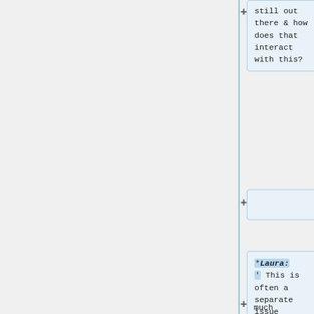still out there & how does that interact with this?
*'''Laura:''' This is often a separate issue because there are understood standards behind accessibility & usability is much